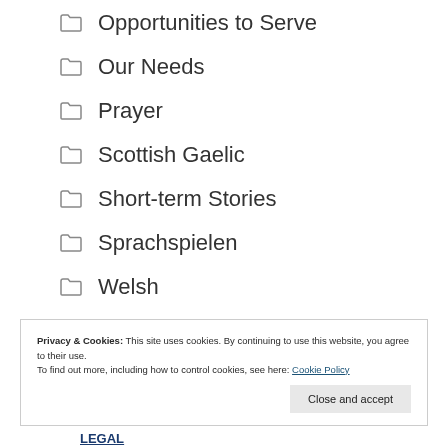Opportunities to Serve
Our Needs
Prayer
Scottish Gaelic
Short-term Stories
Sprachspielen
Welsh
Privacy & Cookies: This site uses cookies. By continuing to use this website, you agree to their use.
To find out more, including how to control cookies, see here: Cookie Policy
Close and accept
LEGAL